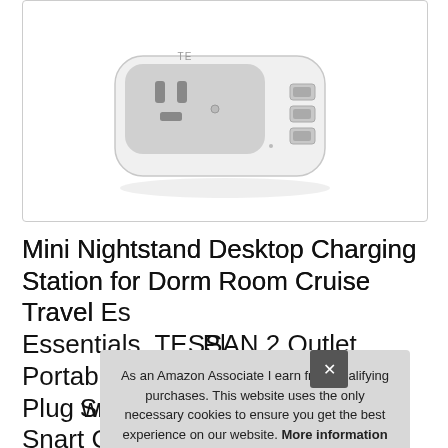[Figure (photo): A white mini nightstand desktop charging station device (TESSAN brand) shown from an angle. It features two US outlet prongs on the front face and multiple USB ports on the right side. The device is white/gray with a rounded rectangular form factor.]
Mini Nightstand Desktop Charging Station for Dorm Room Cruise Travel Essentials, TESSAN 2 Outlet Portable Plug with 3 USB, Compact Small Power Strip Travel Size Smart Charging Ports
As an Amazon Associate I earn from qualifying purchases. This website uses the only necessary cookies to ensure you get the best experience on our website. More information